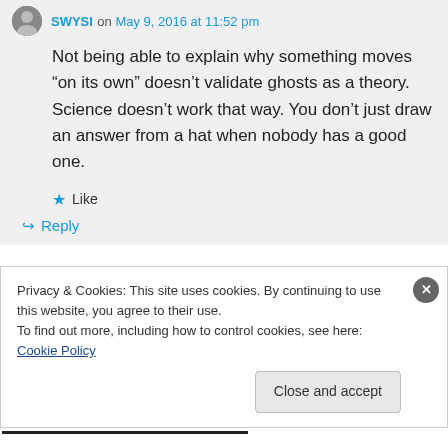SWYSI on May 9, 2016 at 11:52 pm
Not being able to explain why something moves “on its own” doesn’t validate ghosts as a theory. Science doesn’t work that way. You don’t just draw an answer from a hat when nobody has a good one.
★ Like
↪ Reply
Privacy & Cookies: This site uses cookies. By continuing to use this website, you agree to their use.
To find out more, including how to control cookies, see here: Cookie Policy
Close and accept